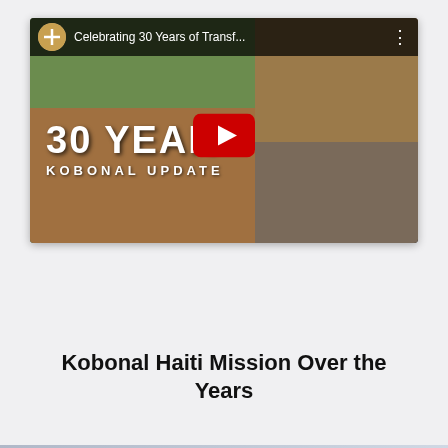[Figure (screenshot): YouTube video thumbnail showing '30 YEAR KOBONAL UPDATE' with collage of photos of children and adults in a rural African/Haitian setting. Video title reads 'Celebrating 30 Years of Transf...' with a large red play button overlay.]
Kobonal Haiti Mission Over the Years